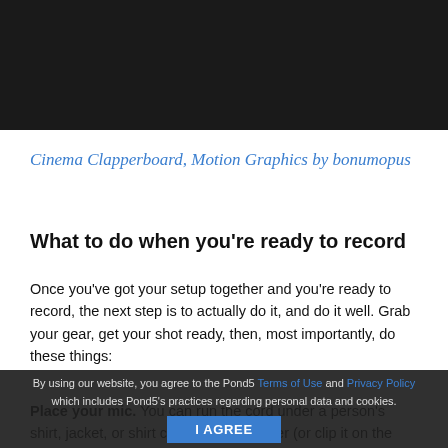[Figure (photo): Dark background image area at top of page (cinema clapperboard video screenshot)]
Cinema Clapperboard, Motion Graphics by bonumopus
What to do when you’re ready to record
Once you’ve got your setup together and you’re ready to record, the next step is to actually do it, and do it well. Grab your gear, get your shot ready, then, most importantly, do these things:
Place your mic. You can run the cord under a person’s shirt, jacket, or shirt collar if it’s a lavalier (or clip it on the outside lapel if it’s unnecessary to hide it), but if it’s a boom or shotgun mic, you just
By using our website, you agree to the Pond5 Terms of Use and Privacy Policy which includes Pond5’s practices regarding personal data and cookies.